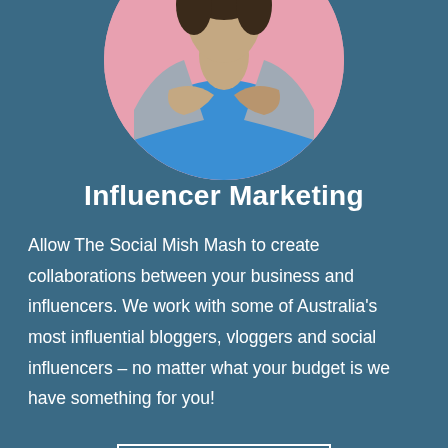[Figure (photo): Circular cropped photo of a woman wearing a blue top and grey denim jacket with arms crossed, against a pink background.]
Influencer Marketing
Allow The Social Mish Mash to create collaborations between your business and influencers. We work with some of Australia's most influential bloggers, vloggers and social influencers – no matter what your budget is we have something for you!
Click Here